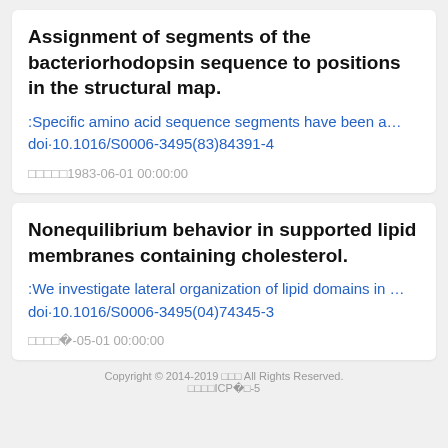Assignment of segments of the bacteriorhodopsin sequence to positions in the structural map.
:Specific amino acid sequence segments have been a…
doi·10.1016/S0006-3495(83)84391-4
□□□□□1983-06-01 00:00:00
Nonequilibrium behavior in supported lipid membranes containing cholesterol.
:We investigate lateral organization of lipid domains in …
doi·10.1016/S0006-3495(04)74345-3
□□□□□2004-05-01 00:00:00
Copyright © 2014-2019 □□□ All Rights Reserved.
□□□□ICP□11037034□-5